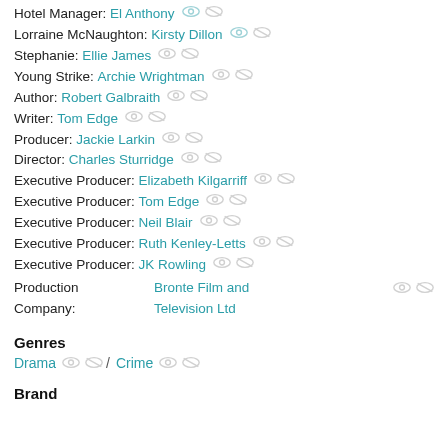Hotel Manager: El Anthony
Lorraine McNaughton: Kirsty Dillon
Stephanie: Ellie James
Young Strike: Archie Wrightman
Author: Robert Galbraith
Writer: Tom Edge
Producer: Jackie Larkin
Director: Charles Sturridge
Executive Producer: Elizabeth Kilgarriff
Executive Producer: Tom Edge
Executive Producer: Neil Blair
Executive Producer: Ruth Kenley-Letts
Executive Producer: JK Rowling
Production Company: Bronte Film and Television Ltd
Genres
Drama / Crime
Brand